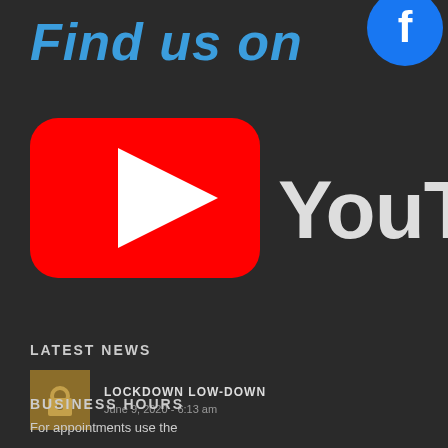[Figure (logo): YouTube logo with red play button rectangle and white YouTube text on dark background, preceded by 'Find us on' text in blue with a Facebook icon]
LATEST NEWS
LOCKDOWN LOW-DOWN
June 9, 2020 - 6:13 am
BUSINESS HOURS
For appointments use the